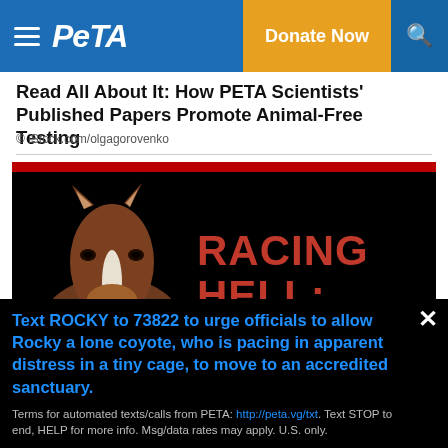PETA — Donate Now
Read All About It: How PETA Scientists' Published Papers Promote Animal-Free Testing
© iStock.com/olgagorovenko
[Figure (screenshot): PETA 'Racing Hell: The Deadly World of Underground Horse Races' promotional image on black background with red top border, showing a horse face on the left and red bold text on the right]
Text ROCKY to 73822 to urge officials to allow Rocky a lone coyote, who is pacing in apparent distress in a tiny cage, to move to an accredited sanctuary.
Terms for automated texts/calls from PETA: http://peta.vg/txt. Text STOP to end, HELP for more info. Msg/data rates may apply. U.S. only.